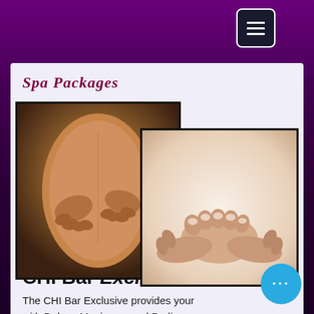Spa Packages
[Figure (photo): Two overlapping spa treatment photos: one showing a back massage with hands working on a client's back, and one showing a foot/hand massage with hands holding toes]
CHI Bar Exclusive
The CHI Bar Exclusive provides your with Deluxe Manicures and Pedicures, Massage for...